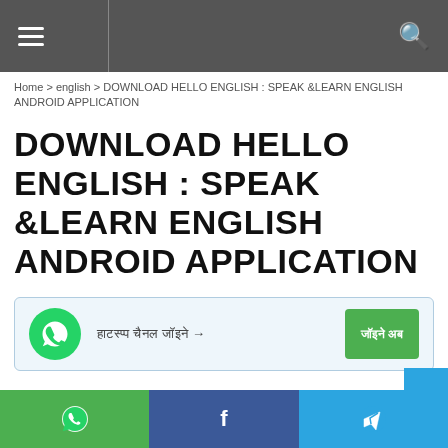Navigation bar with menu and search icons
Home > english > DOWNLOAD HELLO ENGLISH : SPEAK &LEARN ENGLISH ANDROID APPLICATION
DOWNLOAD HELLO ENGLISH : SPEAK &LEARN ENGLISH ANDROID APPLICATION
[Figure (infographic): WhatsApp promotional banner with WhatsApp icon, Hindi text with arrow, and green button with Hindi text]
[Figure (infographic): Bottom share bar with WhatsApp, Facebook, and Telegram icons]